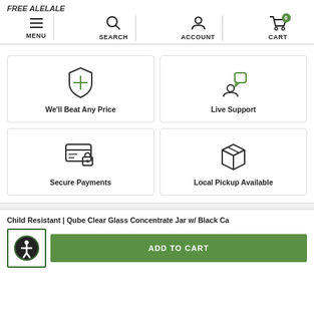MENU | SEARCH | ACCOUNT | CART (0)
[Figure (infographic): Four feature cards in a 2x2 grid: We'll Beat Any Price (shield icon), Live Support (person with speech bubble icon), Secure Payments (credit card with lock icon), Local Pickup Available (box icon)]
Child Resistant | Qube Clear Glass Concentrate Jar w/ Black Ca...
ADD TO CART